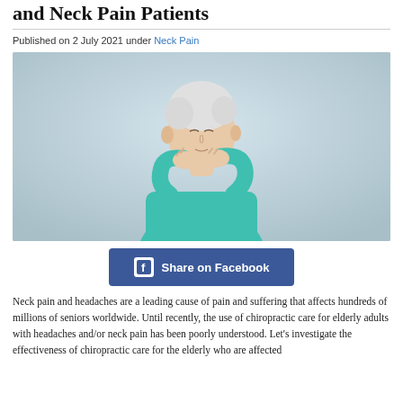and Neck Pain Patients
Published on 2 July 2021 under Neck Pain
[Figure (photo): Middle-aged woman with short white hair wearing a teal long-sleeve shirt, holding both hands to the back of her neck with eyes closed, suggesting neck pain. Light grey background.]
Share on Facebook
Neck pain and headaches are a leading cause of pain and suffering that affects hundreds of millions of seniors worldwide. Until recently, the use of chiropractic care for elderly adults with headaches and/or neck pain has been poorly understood. Let's investigate the effectiveness of chiropractic care for the elderly who are affected